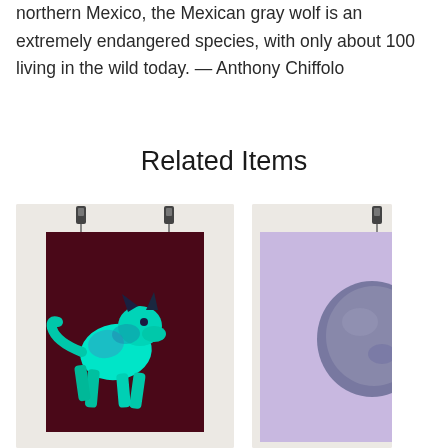northern Mexico, the Mexican gray wolf is an extremely endangered species, with only about 100 living in the wild today. — Anthony Chiffolo
Related Items
[Figure (photo): A poster hanging by binder clips showing a cyan/teal colored wolf illustration on a dark maroon/burgundy background]
[Figure (photo): A partially visible poster on a lavender/light purple background with a dark stone or rock shape visible]